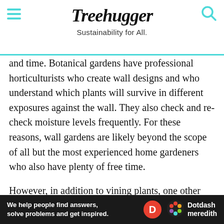Treehugger — Sustainability for All.
and time. Botanical gardens have professional horticulturists who create wall designs and who understand which plants will survive in different exposures against the wall. They also check and re-check moisture levels frequently. For these reasons, wall gardens are likely beyond the scope of all but the most experienced home gardeners who also have plenty of free time.
However, in addition to vining plants, one other way to dress up a wall is to espalier a plant against it. Espalier is the art of pruning a plant so that its branches run
[Figure (other): Dotdash Meredith advertisement banner: 'We help people find answers, solve problems and get inspired.']